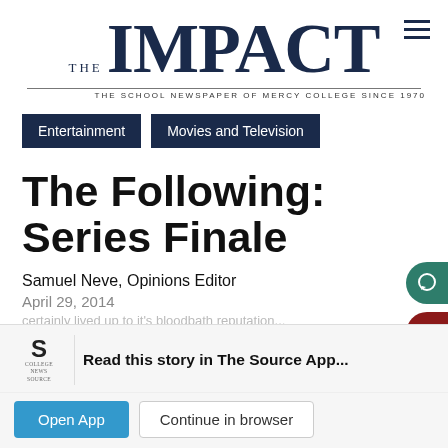THE IMPACT — THE SCHOOL NEWSPAPER OF MERCY COLLEGE SINCE 1970
Entertainment
Movies and Television
The Following: Series Finale
Samuel Neve, Opinions Editor
April 29, 2014
certainly lived up to it's bloodbath reputation
Spoilers, Obviously.
Read this story in The Source App...